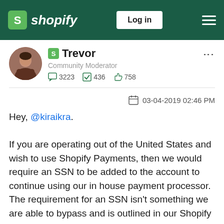Shopify — Log in
Trevor
Community Moderator
3223  436  758
03-04-2019 02:46 PM
Hey, @kiraikra.

If you are operating out of the United States and wish to use Shopify Payments, then we would require an SSN to be added to the account to continue using our in house payment processor. The requirement for an SSN isn't something we are able to bypass and is outlined in our Shopify